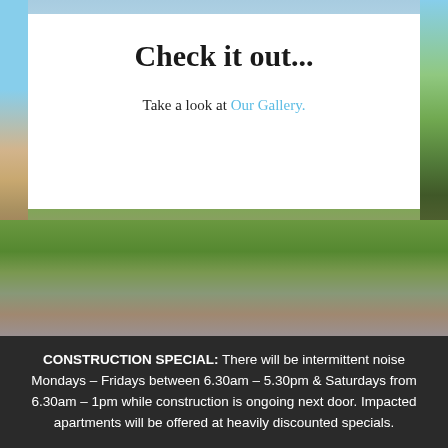[Figure (photo): Background photo showing a balcony view overlooking a garden and beach/waterfront scene with trees and outdoor furniture, partially visible on left and right sides of page]
Check it out...
Take a look at Our Gallery.
CONSTRUCTION SPECIAL: There will be intermittent noise Mondays – Fridays between 6.30am – 5.30pm & Saturdays from 6.30am – 1pm while construction is ongoing next door. Impacted apartments will be offered at heavily discounted specials.